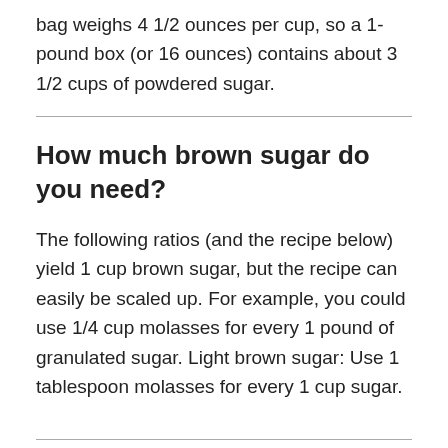bag weighs 4 1/2 ounces per cup, so a 1-pound box (or 16 ounces) contains about 3 1/2 cups of powdered sugar.
How much brown sugar do you need?
The following ratios (and the recipe below) yield 1 cup brown sugar, but the recipe can easily be scaled up. For example, you could use 1/4 cup molasses for every 1 pound of granulated sugar. Light brown sugar: Use 1 tablespoon molasses for every 1 cup sugar.